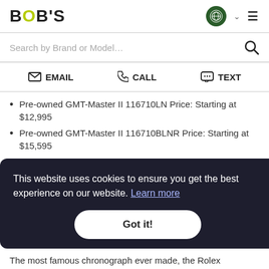BOB'S
Search by Brand or Model…
EMAIL  CALL  TEXT
Pre-owned GMT-Master II 116710LN Price: Starting at $12,995
Pre-owned GMT-Master II 116710BLNR Price: Starting at $15,595
Pre-owned GMT-Master II 126710BLRO Price: Starting
arting
This website uses cookies to ensure you get the best experience on our website. Learn more
Got it!
The most famous chronograph ever made, the Rolex